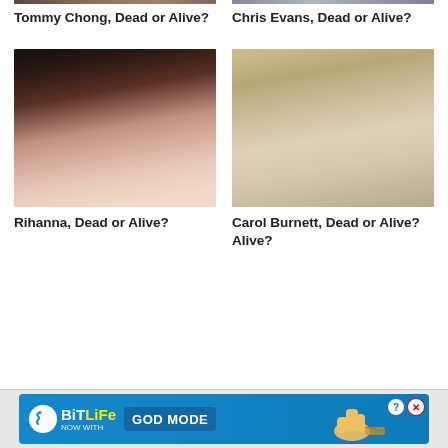[Figure (photo): Partial photo of Tommy Chong (cropped, top portion visible)]
[Figure (photo): Partial photo of Chris Evans (cropped, top portion visible)]
Tommy Chong, Dead or Alive?
Chris Evans, Dead or Alive?
[Figure (photo): Photo of Rihanna, a woman with dark hair and makeup]
[Figure (photo): Photo of Carol Burnett, older woman with short brown hair smiling]
Rihanna, Dead or Alive?
Carol Burnett, Dead or Alive?
[Figure (advertisement): BitLife advertisement banner: NOW WITH GOD MODE]